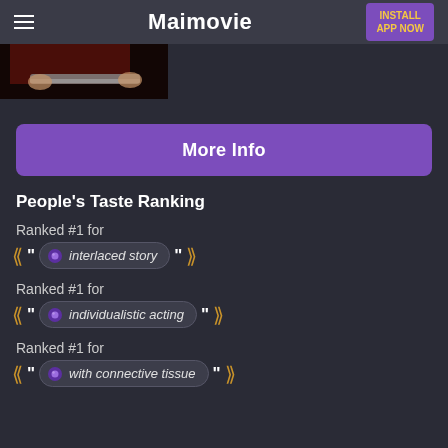Maimovie | INSTALL APP NOW
[Figure (photo): Partial photo of a person in red holding something, cropped at top of page]
More Info
People's Taste Ranking
Ranked #1 for
interlaced story
Ranked #1 for
individualistic acting
Ranked #1 for
with connective tissue